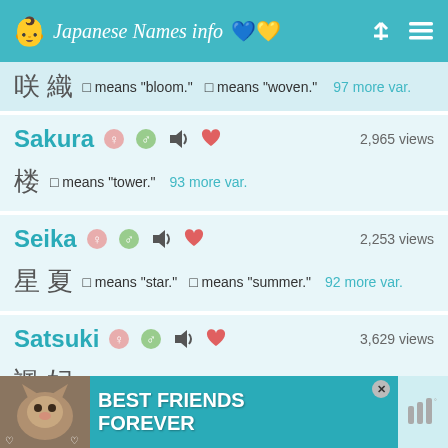Japanese Names info
咲 織  □ means "bloom."  □ means "woven."  97 more var.
Sakura  2,965 views
楼  □ means "tower."  93 more var.
Seika  2,253 views
星 夏  □ means "star."  □ means "summer."  92 more var.
Satsuki  3,629 views
颯 妃  □ means "gale, hurricane, blast, storm, squall, gust."  □
[Figure (photo): Advertisement banner: cat photo with text BEST FRIENDS FOREVER on teal background with close button]